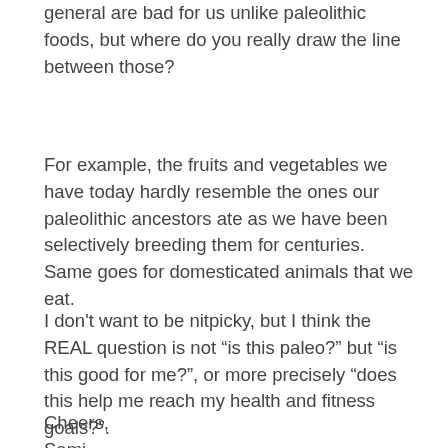general are bad for us unlike paleolithic foods, but where do you really draw the line between those?
For example, the fruits and vegetables we have today hardly resemble the ones our paleolithic ancestors ate as we have been selectively breeding them for centuries. Same goes for domesticated animals that we eat.
I don't want to be nitpicky, but I think the REAL question is not “is this paleo?” but “is this good for me?”, or more precisely “does this help me reach my health and fitness goals?”.
Cheers,
Sami